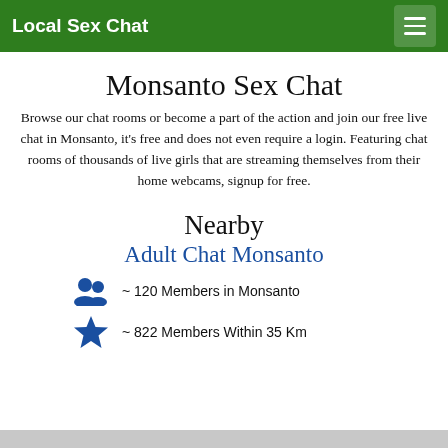Local Sex Chat
Monsanto Sex Chat
Browse our chat rooms or become a part of the action and join our free live chat in Monsanto, it's free and does not even require a login. Featuring chat rooms of thousands of live girls that are streaming themselves from their home webcams, signup for free.
Nearby
Adult Chat Monsanto
~ 120 Members in Monsanto
~ 822 Members Within 35 Km